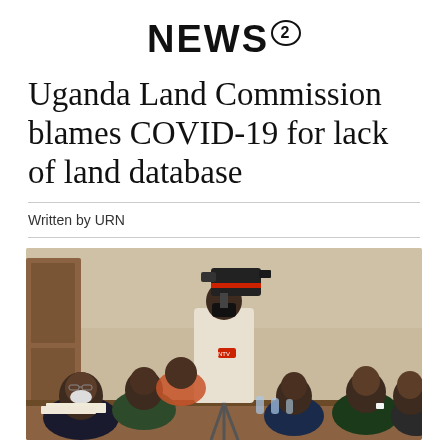NEWS²
Uganda Land Commission blames COVID-19 for lack of land database
Written by URN
[Figure (photo): A group of men seated at a table in a meeting room. A cameraman wearing a mask stands behind them operating a video camera on a tripod. The people seated include men in suits, one taking notes, others looking forward. Background shows a wooden door and light-colored wall.]